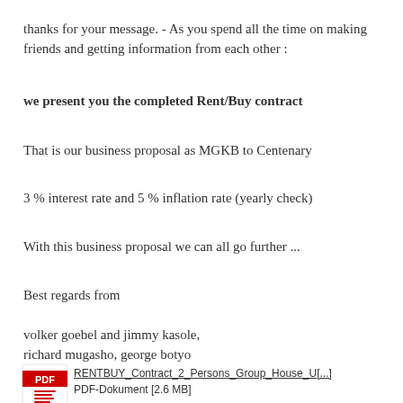thanks for your message. - As you spend all the time on making friends and getting information from each other :
we present you the completed Rent/Buy contract
That is our business proposal as MGKB to Centenary
3 % interest rate and 5 % inflation rate (yearly check)
With this business proposal we can all go further ...
Best regards from
volker goebel and jimmy kasole,
richard mugasho, george botyo
[Figure (other): PDF attachment icon with Adobe PDF red logo]
RENTBUY_Contract_2_Persons_Group_House_U[...]
PDF-Dokument [2.6 MB]